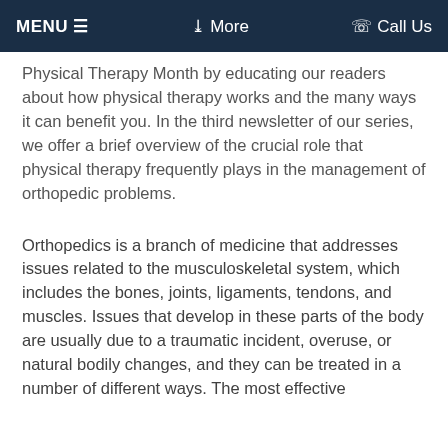MENU ☰   ❯ More   ☎ Call Us
Physical Therapy Month by educating our readers about how physical therapy works and the many ways it can benefit you. In the third newsletter of our series, we offer a brief overview of the crucial role that physical therapy frequently plays in the management of orthopedic problems.
Orthopedics is a branch of medicine that addresses issues related to the musculoskeletal system, which includes the bones, joints, ligaments, tendons, and muscles. Issues that develop in these parts of the body are usually due to a traumatic incident, overuse, or natural bodily changes, and they can be treated in a number of different ways. The most effective